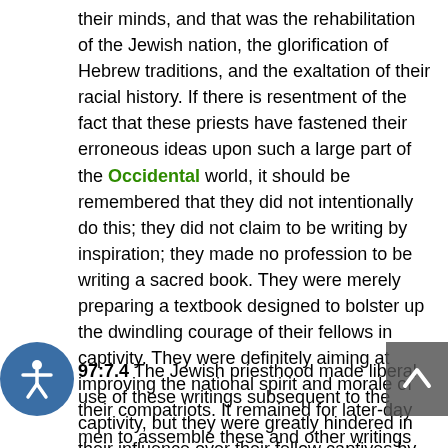their minds, and that was the rehabilitation of the Jewish nation, the glorification of Hebrew traditions, and the exaltation of their racial history. If there is resentment of the fact that these priests have fastened their erroneous ideas upon such a large part of the Occidental world, it should be remembered that they did not intentionally do this; they did not claim to be writing by inspiration; they made no profession to be writing a sacred book. They were merely preparing a textbook designed to bolster up the dwindling courage of their fellows in captivity. They were definitely aiming at improving the national spirit and morale of their compatriots. It remained for later-day men to assemble these and other writings into a guide book of supposedly infallible teachings.
97:7.4 The Jewish priesthood made liberal use of these writings subsequent to the captivity, but they were greatly hindered in their influence over their fellow captives by the presence of a young and indomitable prophet, Isaiah the second, who was a full convert to the elder Isaiah's God of justice, love, righteousness, and mercy. He also believed with Jeremiah that Yahweh had become the God of all nations. He preached these theories of the nature of God with such telling effect that he made converts equally among the Jews and their captors. And this young preacher left on record his
[Figure (other): Accessibility icon button (blue circle with white person/accessibility symbol)]
[Figure (other): Scroll-to-top button (dark grey rectangle with white upward arrow)]